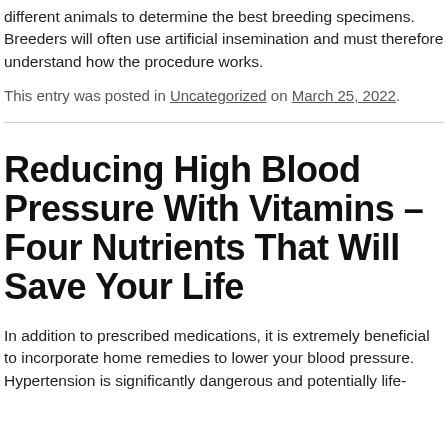different animals to determine the best breeding specimens. Breeders will often use artificial insemination and must therefore understand how the procedure works.
This entry was posted in Uncategorized on March 25, 2022.
Reducing High Blood Pressure With Vitamins – Four Nutrients That Will Save Your Life
In addition to prescribed medications, it is extremely beneficial to incorporate home remedies to lower your blood pressure. Hypertension is significantly dangerous and potentially life-